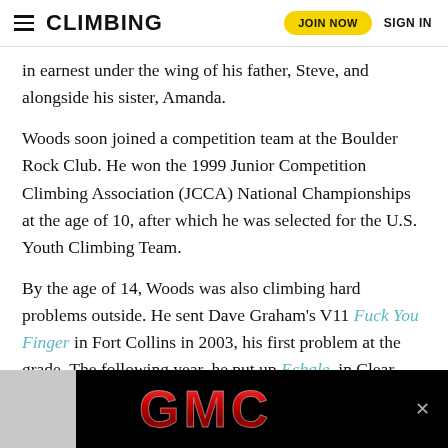CLIMBING  JOIN NOW  SIGN IN
in earnest under the wing of his father, Steve, and alongside his sister, Amanda.
Woods soon joined a competition team at the Boulder Rock Club. He won the 1999 Junior Competition Climbing Association (JCCA) National Championships at the age of 10, after which he was selected for the U.S. Youth Climbing Team.
By the age of 14, Woods was also climbing hard problems outside. He sent Dave Graham's V11 Fuck You Finger in Fort Collins in 2003, his first problem at the grade. The following year, he put up Echale, in Clear Creek Canyon and proposed V14, a grade which has held since then.
[Figure (screenshot): GMC advertisement banner on black background with gray panel on left and close button on right]